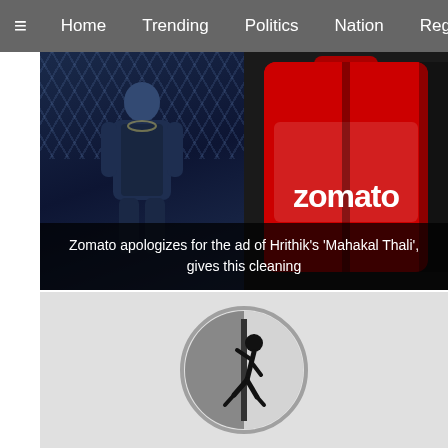≡  Home  Trending  Politics  Nation  Region  Worl
[Figure (photo): Split image: left side shows a person in dark blue lighting with hexagonal pattern background; right side shows a red Zomato delivery bag with 'zomato' text in white. Caption overlay reads: Zomato apologizes for the ad of Hrithik's 'Mahakal Thali', gives this cleaning]
Zomato apologizes for the ad of Hrithik's 'Mahakal Thali', gives this cleaning
[Figure (logo): Circular grayscale logo/icon showing a stick figure running or being caught at a door/barrier, set within a circle with half-dark half-light shading]